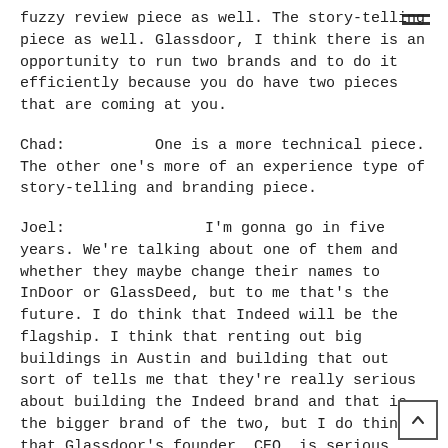fuzzy review piece as well. The story-telling piece as well. Glassdoor, I think there is an opportunity to run two brands and to do it efficiently because you do have two pieces that are coming at you.
Chad:                One is a more technical piece. The other one's more of an experience type of story-telling and branding piece.
Joel:                        I'm gonna go in five years. We're talking about one of them and whether they maybe change their names to InDoor or GlassDeed, but to me that's the future. I do think that Indeed will be the flagship. I think that renting out big buildings in Austin and building that out sort of tells me that they're really serious about building the Indeed brand and that is the bigger brand of the two, but I do think that Glassdoor's founder, CEO, is serious about sticking around whereas Indeed's were not. So, I think you'll see Indeed as the flagship, but I think you'll see a lot of